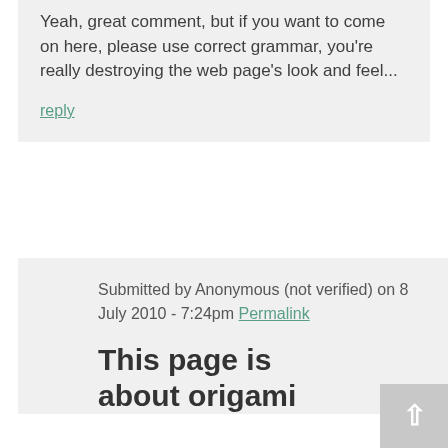Yeah, great comment, but if you want to come on here, please use correct grammar, you're really destroying the web page's look and feel...
reply
Submitted by Anonymous (not verified) on 8 July 2010 - 7:24pm Permalink
This page is about origami